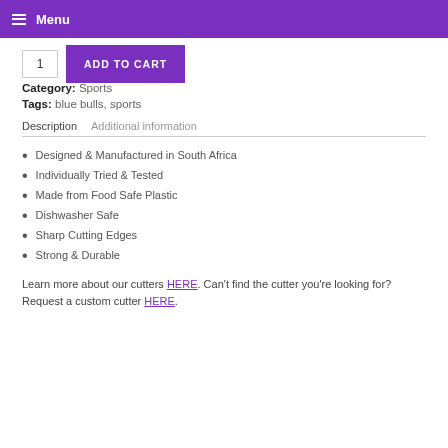☰ Menu
1  ADD TO CART
Category: Sports
Tags: blue bulls, sports
Description   Additional information
Designed & Manufactured in South Africa
Individually Tried & Tested
Made from Food Safe Plastic
Dishwasher Safe
Sharp Cutting Edges
Strong & Durable
Learn more about our cutters HERE. Can't find the cutter you're looking for? Request a custom cutter HERE.